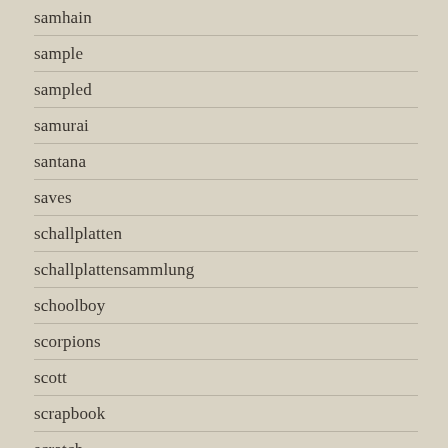samhain
sample
sampled
samurai
santana
saves
schallplatten
schallplattensammlung
schoolboy
scorpions
scott
scrapbook
scratch
scratches
scroll
sdcc